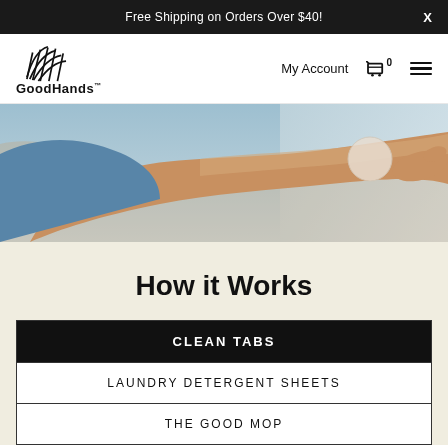Free Shipping on Orders Over $40!
[Figure (logo): GoodHands logo — stylized hand/grid icon above the text GoodHands™]
My Account
[Figure (screenshot): Hero photo of a person's arm reaching out, wearing a blue shirt, against a light background]
How it Works
| CLEAN TABS |
| --- |
| LAUNDRY DETERGENT SHEETS |
| THE GOOD MOP |